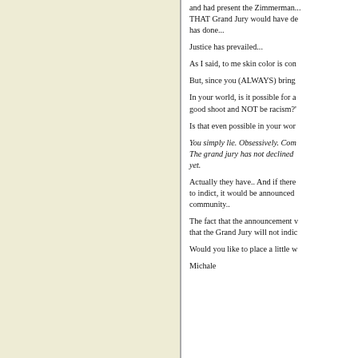and had present the Zimmerman... THAT Grand Jury would have de has done...
Justice has prevailed...
As I said, to me skin color is con
But, since you (ALWAYS) bring
In your world, is it possible for a good shoot and NOT be racism?'
Is that even possible in your wor
You simply lie. Obsessively. Com The grand jury has not declined yet.
Actually they have.. And if there to indict, it would be announced community..
The fact that the announcement v that the Grand Jury will not indic
Would you like to place a little w
Michale